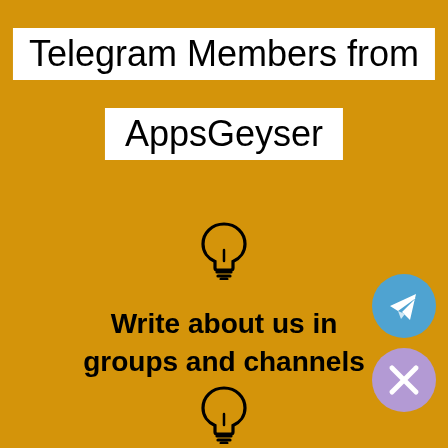Telegram Members from AppsGeyser
[Figure (illustration): Light bulb icon (outline), centered, upper area]
Write about us in groups and channels
[Figure (illustration): Telegram send button icon, blue circle with white paper plane, bottom right]
[Figure (illustration): Close/X button icon, purple circle with white X, bottom right]
[Figure (illustration): Light bulb icon (outline), centered, bottom area]